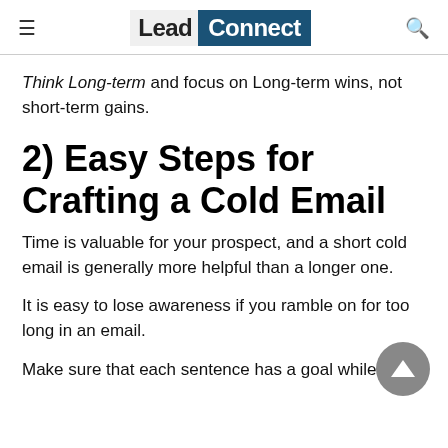Lead Connect
Think Long-term and focus on Long-term wins, not short-term gains.
2) Easy Steps for Crafting a Cold Email
Time is valuable for your prospect, and a short cold email is generally more helpful than a longer one.
It is easy to lose awareness if you ramble on for too long in an email.
Make sure that each sentence has a goal while